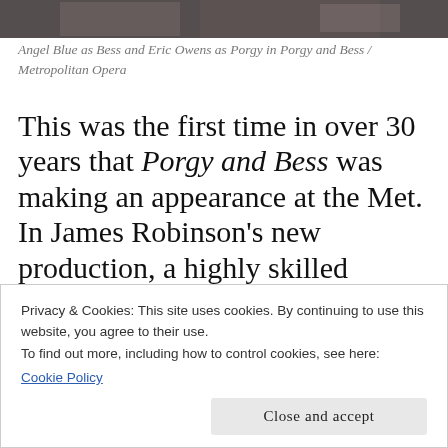[Figure (photo): Partial photograph showing performers, likely Angel Blue and Eric Owens in Porgy and Bess at the Metropolitan Opera]
Angel Blue as Bess and Eric Owens as Porgy in Porgy and Bess / Metropolitan Opera
This was the first time in over 30 years that Porgy and Bess was making an appearance at the Met. In James Robinson's new production, a highly skilled ensemble cast sauntered around the planked floor of Catfish Row, a slum
Privacy & Cookies: This site uses cookies. By continuing to use this website, you agree to their use.
To find out more, including how to control cookies, see here:
Cookie Policy
Close and accept